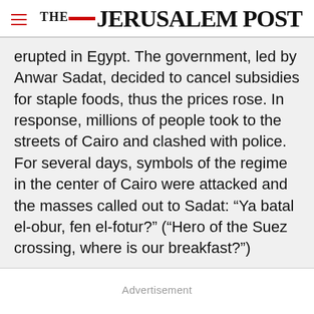THE JERUSALEM POST
erupted in Egypt. The government, led by Anwar Sadat, decided to cancel subsidies for staple foods, thus the prices rose. In response, millions of people took to the streets of Cairo and clashed with police. For several days, symbols of the regime in the center of Cairo were attacked and the masses called out to Sadat: “Ya batal el-obur, fen el-fotur?” (“Hero of the Suez crossing, where is our breakfast?”)
Advertisement